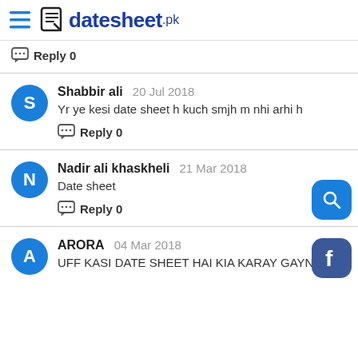datesheet.pk
Reply 0
Shabbir ali  20 Jul 2018
Yr ye kesi date sheet h kuch smjh m nhi arhi h
Reply 0
Nadir ali khaskheli  21 Mar 2018
Date sheet
Reply 0
ARORA  04 Mar 2018
UFF KASI DATE SHEET HAI KIA KARAY GAYN